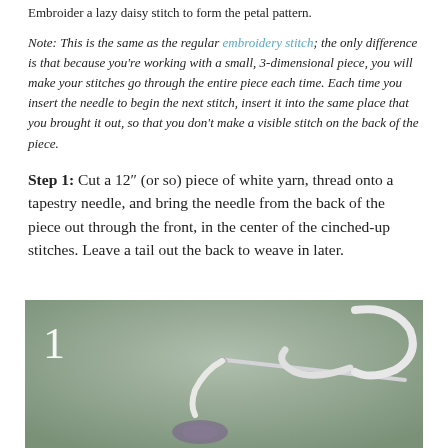Embroider a lazy daisy stitch to form the petal pattern.
Note: This is the same as the regular embroidery stitch; the only difference is that because you're working with a small, 3-dimensional piece, you will make your stitches go through the entire piece each time. Each time you insert the needle to begin the next stitch, insert it into the same place that you brought it out, so that you don't make a visible stitch on the back of the piece.
Step 1: Cut a 12″ (or so) piece of white yarn, thread onto a tapestry needle, and bring the needle from the back of the piece out through the front, in the center of the cinched-up stitches. Leave a tail out the back to weave in later.
[Figure (photo): Close-up photo of a tapestry needle with white yarn threaded through it and a small crocheted piece below, labeled with the number 1 in the upper-left corner.]